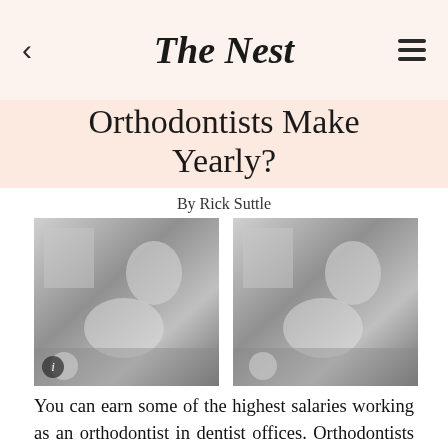The Nest
Orthodontists Make Yearly?
By Rick Suttle
[Figure (photo): Two black-and-white photos side by side showing a dental professional (woman in dark top) standing behind a male patient in a dental chair, set in a dental office.]
You can earn some of the highest salaries working as an orthodontist in dentist offices. Orthodontists earned the mean annual wage of $207,350, according to May 2011 data from the Bureau of Labor Statistics, or BLS. Their duties include examining patients' teeth to determine if they